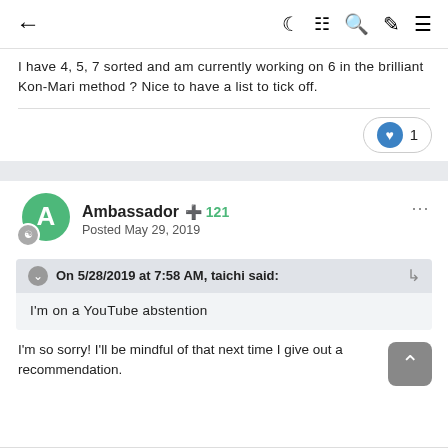← navigation bar with icons: moon, grid, search, brush, menu
I have 4, 5, 7 sorted and am currently working on 6 in the brilliant Kon-Mari method ? Nice to have a list to tick off.
1 like
Ambassador +121 Posted May 29, 2019
On 5/28/2019 at 7:58 AM, taichi said:
I'm on a YouTube abstention
I'm so sorry! I'll be mindful of that next time I give out a recommendation.